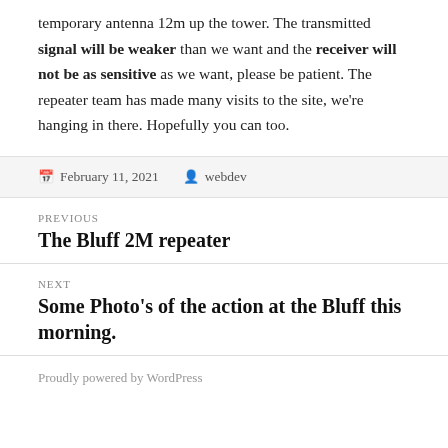temporary antenna 12m up the tower. The transmitted signal will be weaker than we want and the receiver will not be as sensitive as we want, please be patient. The repeater team has made many visits to the site, we're hanging in there. Hopefully you can too.
February 11, 2021   webdev
PREVIOUS
The Bluff 2M repeater
NEXT
Some Photo's of the action at the Bluff this morning.
Proudly powered by WordPress